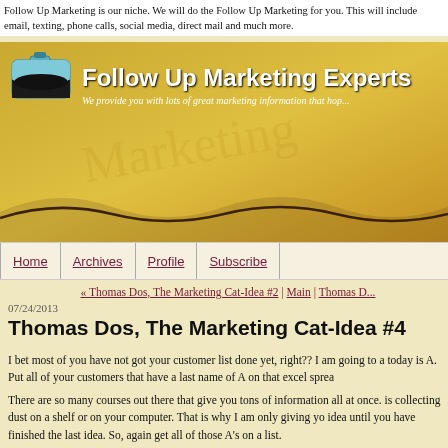Follow Up Marketing is our niche. We will do the Follow Up Marketing for you. This will include email, texting, phone calls, social media, direct mail and much more.
[Figure (illustration): Website banner with ink bottle logo, title 'Follow Up Marketing Experts' and subtitle 'We provide you with lots of great marketing information that hop...' on a golden/amber background with decorative wave at bottom.]
Home | Archives | Profile | Subscribe
« Thomas Dos, The Marketing Cat-Idea #2 | Main | Thomas D...
07/24/2013
Thomas Dos, The Marketing Cat-Idea #4
I bet most of you have not got your customer list done yet, right??  I am going to a today is A.  Put all of your customers that have a last name of A on that excel sprea
There are so many courses out there that give you tons of information all at once. is collecting dust on a shelf or on your computer.  That is why I am only giving yo idea until you have finished the last idea. So, again get all of those A's on a list.